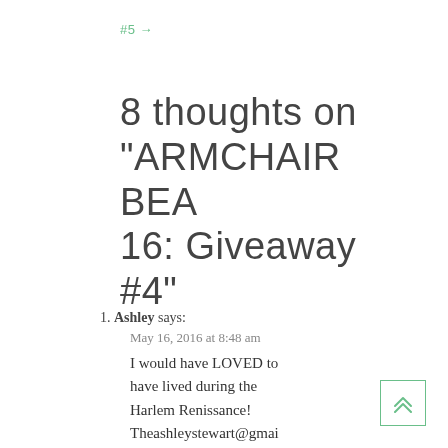#5 →
8 thoughts on “ARMCHAIR BEA 16: Giveaway #4”
1. Ashley says:
May 16, 2016 at 8:48 am
I would have LOVED to have lived during the Harlem Renissance! Theashleystewart@gmail.com